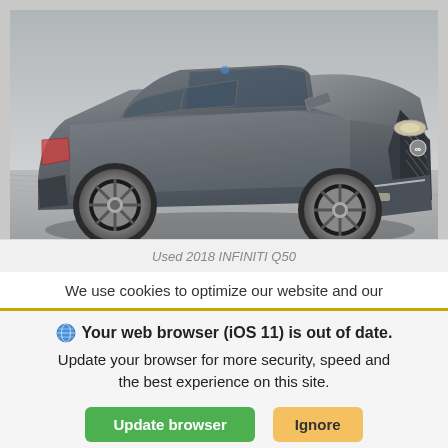[Figure (photo): Dealership website screenshot showing a gray Infiniti Q50 sedan in a showroom, with background text reading 'Up Front, One Price CAR MIC - SIMPLE!' and a partial label bar at the bottom reading 'Used 2018 INFINITI Q50']
We use cookies to optimize our website and our
Your web browser (iOS 11) is out of date. Update your browser for more security, speed and the best experience on this site.
Update browser   Ignore